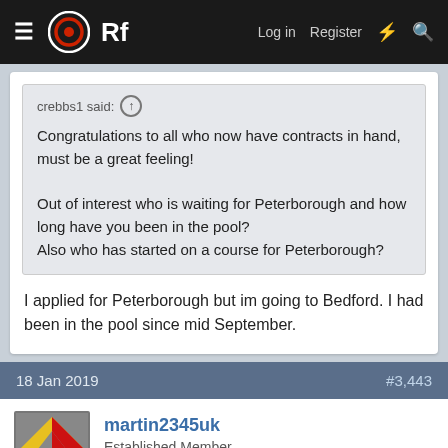ORf  Log in  Register
crebbs1 said:
Congratulations to all who now have contracts in hand, must be a great feeling!

Out of interest who is waiting for Peterborough and how long have you been in the pool?
Also who has started on a course for Peterborough?
I applied for Peterborough but im going to Bedford. I had been in the pool since mid September.
18 Jan 2019   #3,443
martin2345uk
Established Member
Never even seen Bedford mentioned so far! How did that come about?